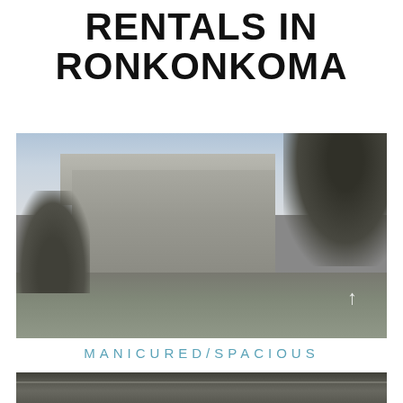RENTALS IN RONKONKOMA
[Figure (photo): Black and white photograph of a two-story apartment/townhouse complex with manicured lawn, shrubs, and trees in background]
MANICURED/SPACIOUS
[Figure (photo): Partial black and white photograph of a fenced outdoor area, bottom of page]